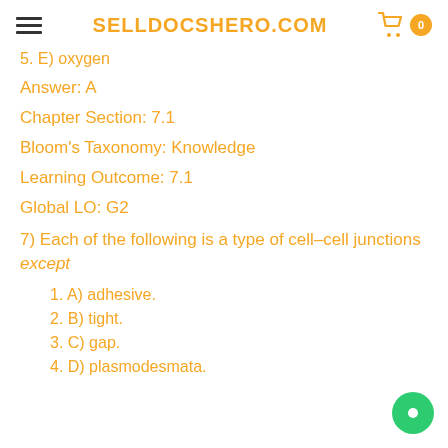SELLDOCSHERO.COM
5. E) oxygen
Answer: A
Chapter Section: 7.1
Bloom’s Taxonomy: Knowledge
Learning Outcome: 7.1
Global LO: G2
7) Each of the following is a type of cell–cell junctions except
1. A) adhesive.
2. B) tight.
3. C) gap.
4. D) plasmodesmata.